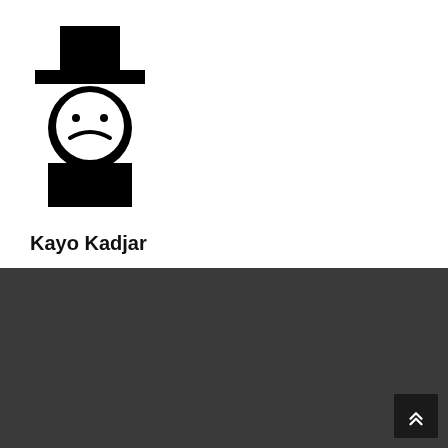[Figure (logo): Stylized black silhouette icon of a person wearing a top hat, with a round face showing two dots for eyes and a curved line (frown), and a black rectangular body/shoulders block beneath.]
Kayo Kadjar
JOIN US
Online Donate To Global
Open Your Charity